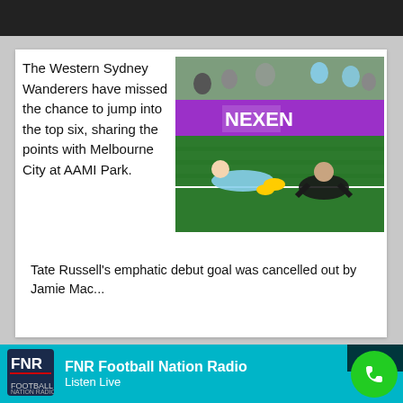[Figure (photo): Two football players lying on the pitch - one in light blue (Sydney FC) and one in dark red/black (Western Sydney Wanderers) - with a purple NEXEN advertising board in the background and green grass stadium setting.]
The Western Sydney Wanderers have missed the chance to jump into the top six, sharing the points with Melbourne City at AAMI Park.
Tate Russell's emphatic debut goal was cancelled out by Jamie Mac...
[Figure (logo): FNR Football Nation Radio logo - white and dark letters FNR on teal background bar]
FNR Football Nation Radio
Listen Live